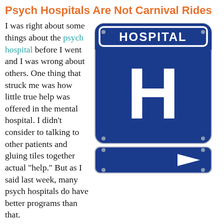Psych Hospitals Are Not Carnival Rides
I was right about some things about the psych hospital before I went and I was wrong about others. One thing that struck me was how little true help was offered in the mental hospital. I didn't consider to talking to other patients and gluing tiles together actual "help." But as I said last week, many psych hospitals do have better programs than that.
[Figure (photo): Blue hospital directional sign with white text reading HOSPITAL and a large white H, with a right-pointing arrow on a lower panel, mounted on bolts against a white background.]
But here's the thing about the mental hospital: they do